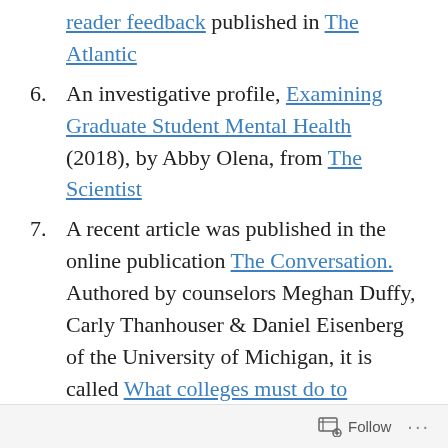reader feedback published in The Atlantic
6. An investigative profile, Examining Graduate Student Mental Health (2018), by Abby Olena, from The Scientist
7. A recent article was published in the online publication The Conversation. Authored by counselors Meghan Duffy, Carly Thanhouser & Daniel Eisenberg of the University of Michigan, it is called What colleges must do to promote mental health for graduate students. (August 2018).
8. An article by Colleen Flaherty published in Inside Higher Education earlier this year is entitled Mental Health Crisis for Graduate Students. This summary of results from a
Follow ...